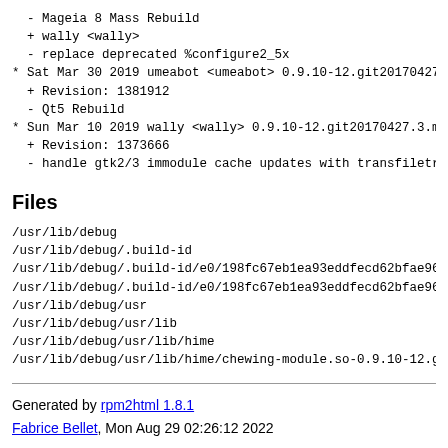- Mageia 8 Mass Rebuild
  + wally <wally>
  - replace deprecated %configure2_5x
* Sat Mar 30 2019 umeabot <umeabot> 0.9.10-12.git20170427
  + Revision: 1381912
  - Qt5 Rebuild
* Sun Mar 10 2019 wally <wally> 0.9.10-12.git20170427.3.m
  + Revision: 1373666
  - handle gtk2/3 immodule cache updates with transfiletr
Files
/usr/lib/debug
/usr/lib/debug/.build-id
/usr/lib/debug/.build-id/e0/198fc67eb1ea93eddfecd62bfae96
/usr/lib/debug/.build-id/e0/198fc67eb1ea93eddfecd62bfae96
/usr/lib/debug/usr
/usr/lib/debug/usr/lib
/usr/lib/debug/usr/lib/hime
/usr/lib/debug/usr/lib/hime/chewing-module.so-0.9.10-12.g
Generated by rpm2html 1.8.1
Fabrice Bellet, Mon Aug 29 02:26:12 2022